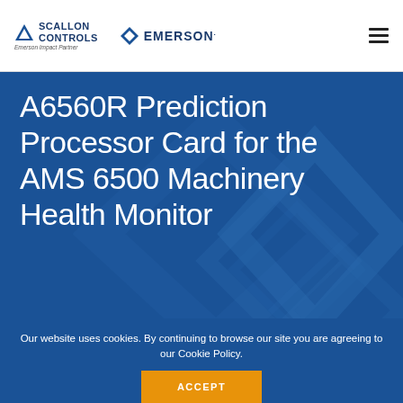SCALLON CONTROLS Emerson Impact Partner | EMERSON
A6560R Prediction Processor Card for the AMS 6500 Machinery Health Monitor
Our website uses cookies. By continuing to browse our site you are agreeing to our Cookie Policy.
ACCEPT